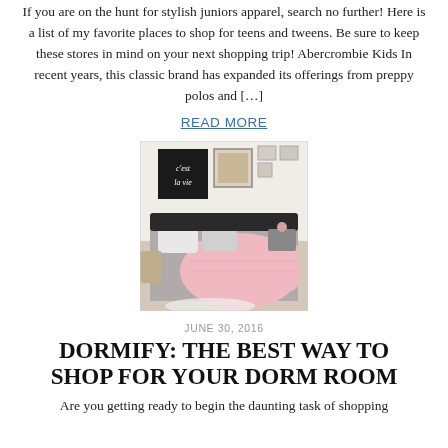If you are on the hunt for stylish juniors apparel, search no further! Here is a list of my favorite places to shop for teens and tweens. Be sure to keep these stores in mind on your next shopping trip! Abercrombie Kids In recent years, this classic brand has expanded its offerings from preppy polos and […]
READ MORE
[Figure (photo): A styled dorm room with a bed covered in pink and white bedding, decorative pillows, and wall art including a 'c'est la vie' sign.]
JUNE 30, 2016
DORMIFY: THE BEST WAY TO SHOP FOR YOUR DORM ROOM
Are you getting ready to begin the daunting task of shopping